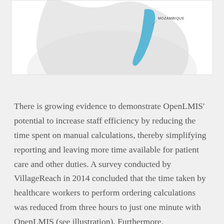[Figure (map): Partial map of Africa with Mozambique highlighted in blue, label 'MOZAMBIQUE' visible in top right area of the map.]
There is growing evidence to demonstrate OpenLMIS' potential to increase staff efficiency by reducing the time spent on manual calculations, thereby simplifying reporting and leaving more time available for patient care and other duties. A survey conducted by VillageReach in 2014 concluded that the time taken by healthcare workers to perform ordering calculations was reduced from three hours to just one minute with OpenLMIS (see illustration). Furthermore,